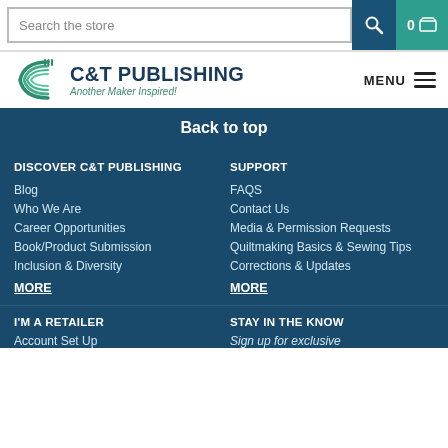Search the store | 0 cart
[Figure (logo): C&T Publishing logo with stylized C icon and tagline 'Another Maker Inspired!']
Back to top
DISCOVER C&T PUBLISHING
Blog
Who We Are
Career Opportunities
Book/Product Submission
Inclusion & Diversity
MORE
SUPPORT
FAQS
Contact Us
Media & Permission Requests
Quiltmaking Basics & Sewing Tips
Corrections & Updates
MORE
I'M A RETAILER
Account Set Up
STAY IN THE KNOW
Sign up for exclusive